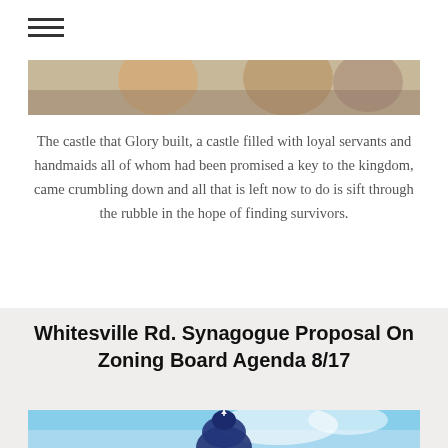☰
[Figure (photo): Partial photo showing close-up of faces, cropped at top]
The castle that Glory built, a castle filled with loyal servants and handmaids all of whom had been promised a key to the kingdom, came crumbling down and all that is left now to do is sift through the rubble in the hope of finding survivors.
Whitesville Rd. Synagogue Proposal On Zoning Board Agenda 8/17
[Figure (photo): Photo showing synagogue dome with blue sky and clouds in background]